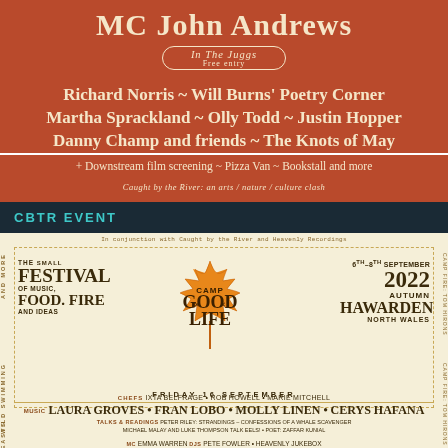MC John Andrews
In The Juggs
Free entry
Richard Norris ~ Will Burns' Poetry Corner
Martha Sprackland ~ Olly Todd ~ Justin Hopper
Danny Champ and friends ~ The Knots of May
+ Downstream film screening ~ Pizza Van ~ Bookstall and more
Caught by the River: an arts / nature / culture clash
CBTR EVENT
In conjunction with Caught by the River and Heavenly Recordings
[Figure (logo): Camp Good Life festival logo — orange maple leaf with CAMP GOOD LIFE text]
THE SMALL FESTIVAL OF MUSIC, FOOD, FIRE AND IDEAS
6th–8th September 2022 Autumn Hawarden North Wales
FRIDAY 16 SEPTEMBER
CHEFS IXTA BELFRAGE • ROB HOWELL • MARIE MITCHELL
MUSIC LAURA GROVES • FRAN LOBO • MOLLY LINEN • CERYS HAFANA
TALKS & READINGS PETER RILEY: STRANDINGS – CONFESSIONS OF A WHALE SCAVENGER
MICHAEL MALAY AND LUKE THOMPSON TALK EELS! • POET: ZAFFAR KUNIAL
MC EMMA WARREN DJS PETE FOWLER • HEAVENLY JUKEBOX
SATURDAY 17 SEPTEMBER
CHEFS GILL MELLER • OLIA HERCULES • FLORA SHEDDEN
CHERRY GHOST